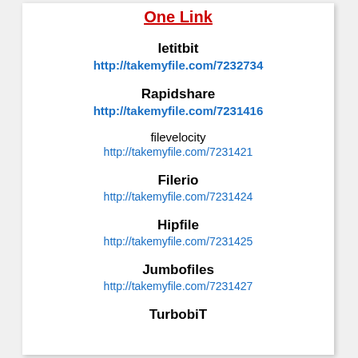One Link
letitbit
http://takemyfile.com/7232734
Rapidshare
http://takemyfile.com/7231416
filevelocity
http://takemyfile.com/7231421
Filerio
http://takemyfile.com/7231424
Hipfile
http://takemyfile.com/7231425
Jumbofiles
http://takemyfile.com/7231427
TurbobiT